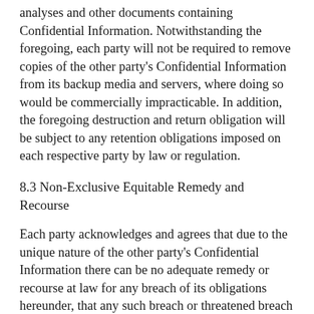analyses and other documents containing Confidential Information. Notwithstanding the foregoing, each party will not be required to remove copies of the other party's Confidential Information from its backup media and servers, where doing so would be commercially impracticable. In addition, the foregoing destruction and return obligation will be subject to any retention obligations imposed on each respective party by law or regulation.
8.3 Non-Exclusive Equitable Remedy and Recourse
Each party acknowledges and agrees that due to the unique nature of the other party's Confidential Information there can be no adequate remedy or recourse at law for any breach of its obligations hereunder, that any such breach or threatened breach may allow a party or third parties to unfairly compete with the other party, resulting in irreparable harm to such party, and therefore, that upon any such breach or any threat thereof, each party will be entitled